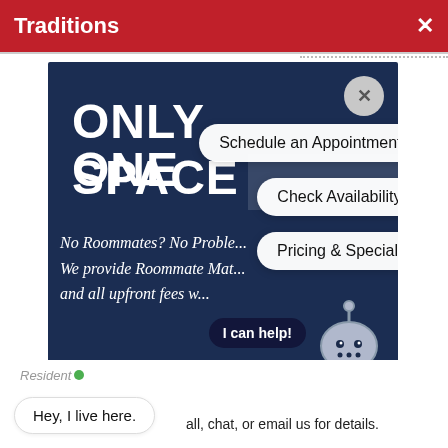Traditions ×
[Figure (screenshot): Dark navy blue banner showing 'ONLY ONE SPACE' in large bold white text, with italic handwritten-style text: 'No Roommates? No Problem. We provide Roommate Matching and all upfront fees w...' Overlaid popup buttons: 'Schedule an Appointment!', 'Check Availability!', 'Pricing & Specials'. A robot chatbot icon appears bottom right with 'I can help!' button.]
Hey, I live here.
all, chat, or email us for details.